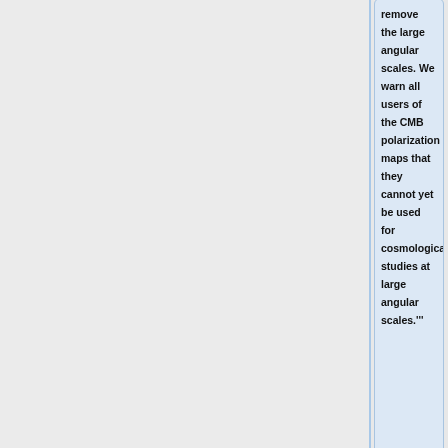'''remove the large angular scales. We warn all users of the CMB polarization maps that they cannot yet be used for cosmological studies at large angular scales.'''
'''For convenience, we provide as default polarized CMB maps from which all